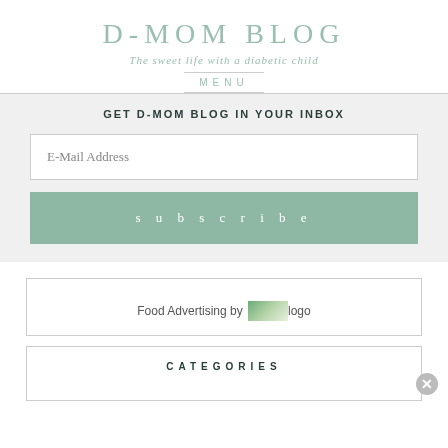D-MOM BLOG
The sweet life with a diabetic child
MENU
GET D-MOM BLOG IN YOUR INBOX
E-Mail Address
subscribe
Food Advertising by logo
CATEGORIES